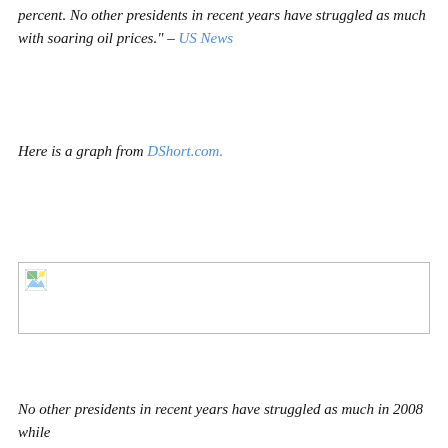percent. No other presidents in recent years have struggled as much with soaring oil prices." – US News
Here is a graph from DShort.com.
[Figure (other): Broken/missing image placeholder for a graph from DShort.com about oil prices and presidents]
No other presidents in recent years have struggled as much in 2008 while...